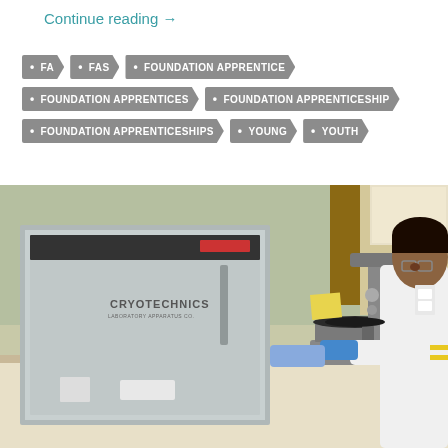Continue reading →
FA
FAS
FOUNDATION APPRENTICE
FOUNDATION APPRENTICES
FOUNDATION APPRENTICESHIP
FOUNDATION APPRENTICESHIPS
YOUNG
YOUTH
[Figure (photo): A person in a white lab coat and blue gloves using a microscope in a laboratory setting, with a stainless steel Cryotechnics freezer/refrigerator unit visible in the background.]